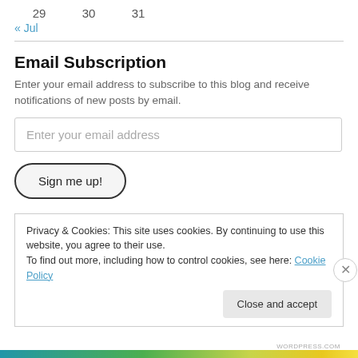29   30   31
« Jul
Email Subscription
Enter your email address to subscribe to this blog and receive notifications of new posts by email.
Enter your email address
Sign me up!
Privacy & Cookies: This site uses cookies. By continuing to use this website, you agree to their use.
To find out more, including how to control cookies, see here: Cookie Policy
Close and accept